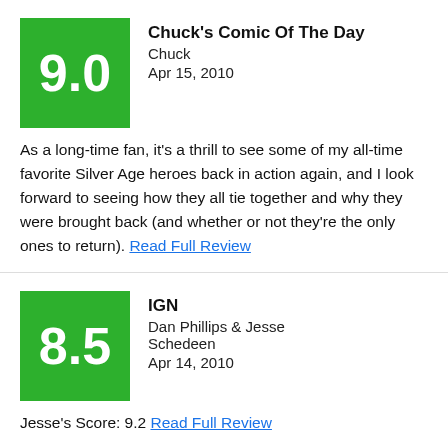Chuck's Comic Of The Day
Chuck
Apr 15, 2010
As a long-time fan, it's a thrill to see some of my all-time favorite Silver Age heroes back in action again, and I look forward to seeing how they all tie together and why they were brought back (and whether or not they're the only ones to return). Read Full Review
IGN
Dan Phillips & Jesse Schedeen
Apr 14, 2010
Jesse's Score: 9.2 Read Full Review
Weekly Comic Book Review